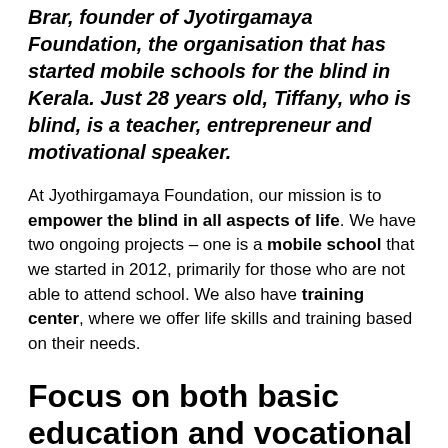Brar, founder of Jyotirgamaya Foundation, the organisation that has started mobile schools for the blind in Kerala. Just 28 years old, Tiffany, who is blind, is a teacher, entrepreneur and motivational speaker.
At Jyothirgamaya Foundation, our mission is to empower the blind in all aspects of life. We have two ongoing projects – one is a mobile school that we started in 2012, primarily for those who are not able to attend school. We also have training center, where we offer life skills and training based on their needs.
Focus on both basic education and vocational training